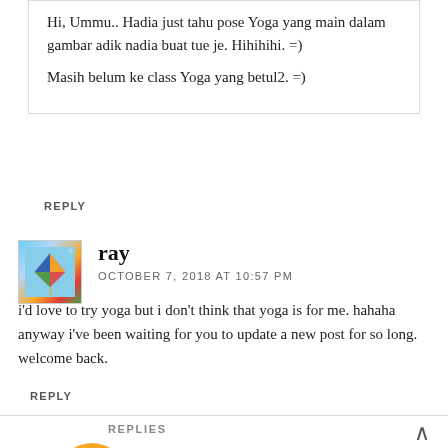Hi, Ummu.. Hadia just tahu pose Yoga yang main dalam gambar adik nadia buat tue je. Hihihihi. =)

Masih belum ke class Yoga yang betul2. =)
REPLY
ray
OCTOBER 7, 2018 AT 10:57 PM
i'd love to try yoga but i don't think that yoga is for me. hahaha anyway i've been waiting for you to update a new post for so long. welcome back.
REPLY
REPLIES
nadiaizzaty